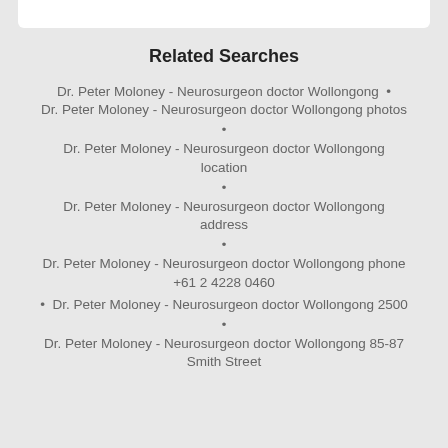Related Searches
Dr. Peter Moloney - Neurosurgeon doctor Wollongong  •  Dr. Peter Moloney - Neurosurgeon doctor Wollongong photos
Dr. Peter Moloney - Neurosurgeon doctor Wollongong location
Dr. Peter Moloney - Neurosurgeon doctor Wollongong address
Dr. Peter Moloney - Neurosurgeon doctor Wollongong phone +61 2 4228 0460
Dr. Peter Moloney - Neurosurgeon doctor Wollongong 2500
Dr. Peter Moloney - Neurosurgeon doctor Wollongong 85-87 Smith Street